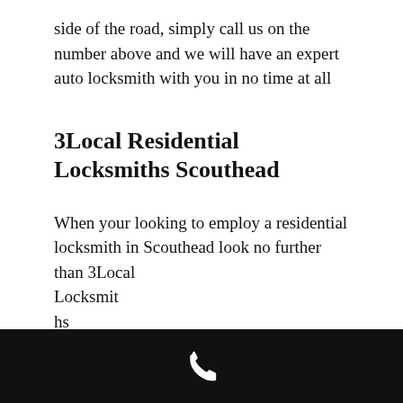side of the road, simply call us on the number above and we will have an expert auto locksmith with you in no time at all
3Local Residential Locksmiths Scouthead
When your looking to employ a residential locksmith in Scouthead look no further than 3Local Locksmith hs Scouthead
[Figure (other): Black navigation/phone bar at the bottom of the page with a white telephone handset icon centered]